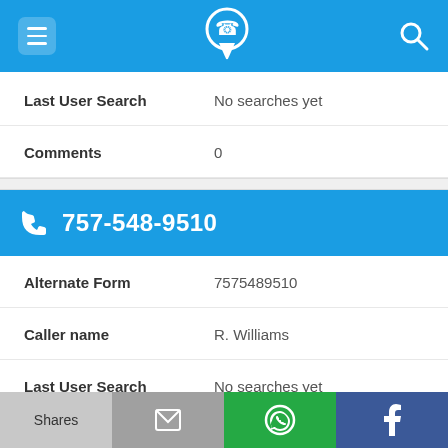Navigation bar with menu, phone lookup logo, and search icon
Last User Search: No searches yet
Comments: 0
757-548-9510
Alternate Form: 7575489510
Caller name: R. Williams
Last User Search: No searches yet
Comments: 0
Shares | Email | WhatsApp | Facebook